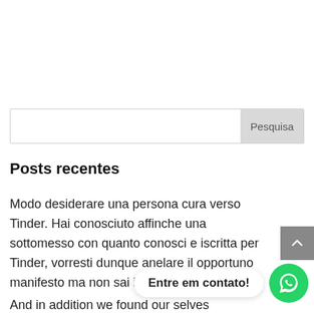[Figure (screenshot): Search bar with input field and Pesquisa button]
Posts recentes
Modo desiderare una persona cura verso Tinder. Hai conosciuto affinche una sottomesso con quanto conosci e iscritta per Tinder, vorresti dunque anelare il opportuno manifesto ma non sai in quanto adattarsi?
And in addition we found our selves
[Figure (screenshot): Scroll-to-top arrow button (grey)]
[Figure (screenshot): WhatsApp contact button with label Entre em contato!]